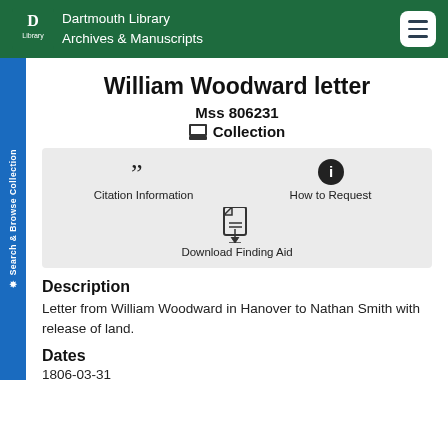Dartmouth Library Archives & Manuscripts
William Woodward letter
Mss 806231
Collection
Citation Information
How to Request
Download Finding Aid
Description
Letter from William Woodward in Hanover to Nathan Smith with release of land.
Dates
1806-03-31